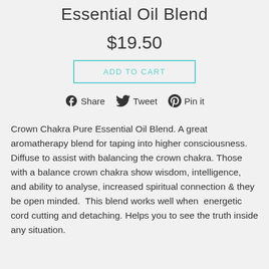Essential Oil Blend
$19.50
ADD TO CART
Share  Tweet  Pin it
Crown Chakra Pure Essential Oil Blend. A great aromatherapy blend for taping into higher consciousness. Diffuse to assist with balancing the crown chakra. Those with a balance crown chakra show wisdom, intelligence, and ability to analyse, increased spiritual connection & they be open minded.  This blend works well when  energetic cord cutting and detaching. Helps you to see the truth inside any situation.